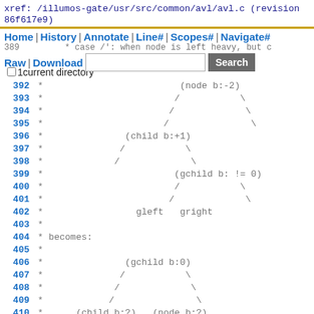xref: /illumos-gate/usr/src/common/avl/avl.c (revision 86f617e9)
Home | History | Annotate | Line# | Scopes# | Navigate#
Raw | Download  [search input] Search
1current directory
392  *                         (node b:-2)
393  *                        /           \
394  *                       /             \
395  *                      /               \
396  *               (child b:+1)
397  *              /           \
398  *             /             \
399  *                        (gchild b: != 0)
400  *                        /           \
401  *                       /             \
402  *                 gleft   gright
403  *
404  * becomes:
405  *
406  *               (gchild b:0)
407  *              /           \
408  *             /             \
409  *            /               \
410  *      (child b:?)   (node b:?)
411  *      /     \       /     \
412  *     /       \     /       \
413  *           gleft gright
414  *